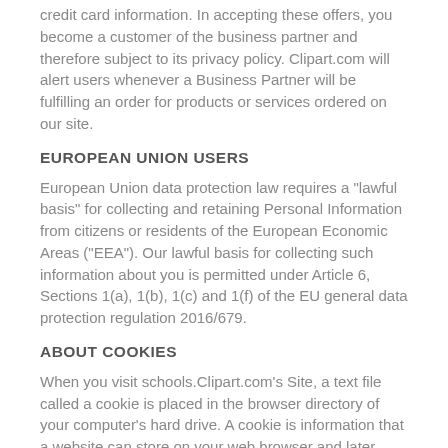credit card information. In accepting these offers, you become a customer of the business partner and therefore subject to its privacy policy. Clipart.com will alert users whenever a Business Partner will be fulfilling an order for products or services ordered on our site.
EUROPEAN UNION USERS
European Union data protection law requires a "lawful basis" for collecting and retaining Personal Information from citizens or residents of the European Economic Areas ("EEA"). Our lawful basis for collecting such information about you is permitted under Article 6, Sections 1(a), 1(b), 1(c) and 1(f) of the EU general data protection regulation 2016/679.
ABOUT COOKIES
When you visit schools.Clipart.com's Site, a text file called a cookie is placed in the browser directory of your computer's hard drive. A cookie is information that a website can store on your web browser and later retrieve. The information that cookies collect includes the data and